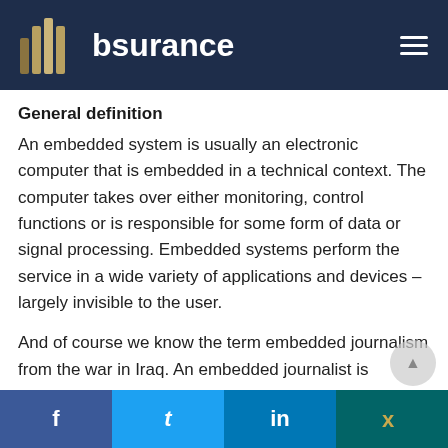bsurance
General definition
An embedded system is usually an electronic computer that is embedded in a technical context. The computer takes over either monitoring, control functions or is responsible for some form of data or signal processing. Embedded systems perform the service in a wide variety of applications and devices – largely invisible to the user.
And of course we know the term embedded journalism from the war in Iraq. An embedded journalist is accompanying the troop during war and...
f  t  in  x